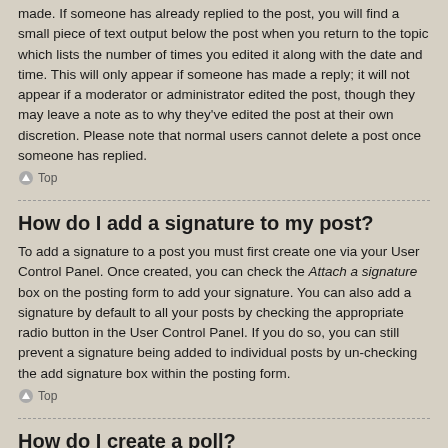made. If someone has already replied to the post, you will find a small piece of text output below the post when you return to the topic which lists the number of times you edited it along with the date and time. This will only appear if someone has made a reply; it will not appear if a moderator or administrator edited the post, though they may leave a note as to why they've edited the post at their own discretion. Please note that normal users cannot delete a post once someone has replied.
Top
How do I add a signature to my post?
To add a signature to a post you must first create one via your User Control Panel. Once created, you can check the Attach a signature box on the posting form to add your signature. You can also add a signature by default to all your posts by checking the appropriate radio button in the User Control Panel. If you do so, you can still prevent a signature being added to individual posts by un-checking the add signature box within the posting form.
Top
How do I create a poll?
When posting a new topic or editing the first post of a topic, click the "Poll creation" tab below the main posting form; if you cannot see this, you do